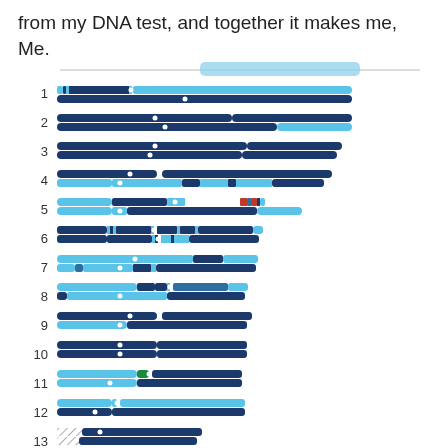from my DNA test, and together it makes me, Me.
[Figure (infographic): Chromosome painting diagram showing 14 numbered chromosomes (1-14), each represented as two horizontal bar segments (homologous pairs) colored in shades of light blue, dark navy blue, with occasional colored markers (red, green, purple). Chromosomes decrease in length from top (1) to bottom (14). Numbers 1-14 label each pair on the left. A top navigation bar is partially visible at the top.]